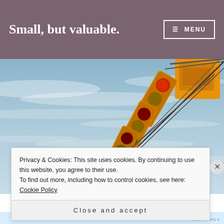Small, but valuable.
[Figure (photo): Navigation menu button with hamburger icon and MENU text, white on mauve background]
[Figure (photo): Photograph of multiple orange traffic lights hanging on wires against a blue cloudy sky, viewed from below at an angle]
Privacy & Cookies: This site uses cookies. By continuing to use this website, you agree to their use.
To find out more, including how to control cookies, see here: Cookie Policy
Close and accept